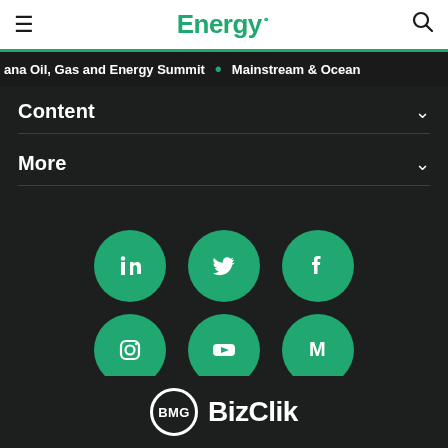Energy.
ana Oil, Gas and Energy Summit • Mainstream & Ocean
Content
More
[Figure (infographic): Six social media icons (LinkedIn, Twitter, Facebook, Instagram, YouTube, Medium) arranged in two rows of three, each as a white icon on a green circle, on a dark background.]
[Figure (logo): BizClik Media Group logo: BMG text inside a white circle outline, followed by BizClik text in white, on a dark background.]